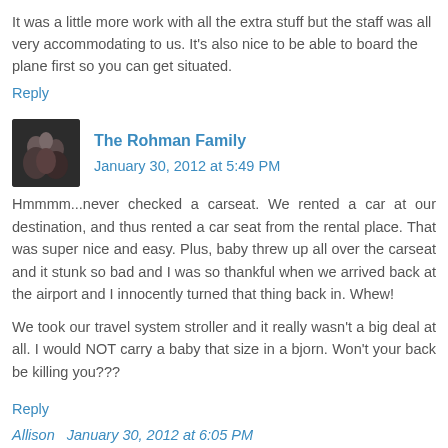It was a little more work with all the extra stuff but the staff was all very accommodating to us. It's also nice to be able to board the plane first so you can get situated.
Reply
The Rohman Family  January 30, 2012 at 5:49 PM
Hmmmm...never checked a carseat. We rented a car at our destination, and thus rented a car seat from the rental place. That was super nice and easy. Plus, baby threw up all over the carseat and it stunk so bad and I was so thankful when we arrived back at the airport and I innocently turned that thing back in. Whew!
We took our travel system stroller and it really wasn't a big deal at all. I would NOT carry a baby that size in a bjorn. Won't your back be killing you???
Reply
Allison  January 30, 2012 at 6:05 PM